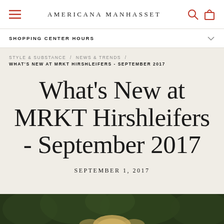AMERICANA MANHASSET
SHOPPING CENTER HOURS
STYLE & SUBSTANCE / NEWS & TRENDS / WHAT'S NEW AT MRKT HIRSHLEIFERS - SEPTEMBER 2017
What's New at MRKT Hirshleifers - September 2017
SEPTEMBER 1, 2017
[Figure (photo): Bottom portion of page showing top of a photo with green foliage background and a person with blonde hair]